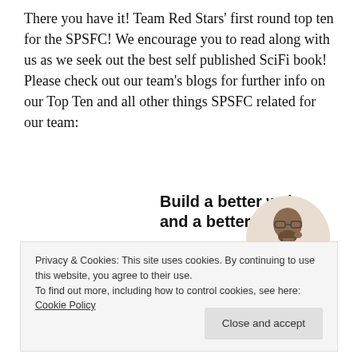There you have it! Team Red Stars' first round top ten for the SPSFC! We encourage you to read along with us as we seek out the best self published SciFi book! Please check out our team's blogs for further info on our Top Ten and all other things SPSFC related for our team:
[Figure (screenshot): Advertisement banner with bold text 'Build a better web and a better world.' with a blue Apply button and a circular photo of a person]
Privacy & Cookies: This site uses cookies. By continuing to use this website, you agree to their use.
To find out more, including how to control cookies, see here: Cookie Policy